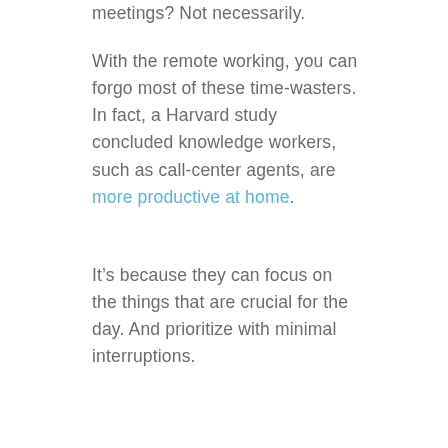meetings? Not necessarily.
With the remote working, you can forgo most of these time-wasters. In fact, a Harvard study concluded knowledge workers, such as call-center agents, are more productive at home.
It’s because they can focus on the things that are crucial for the day. And prioritize with minimal interruptions.